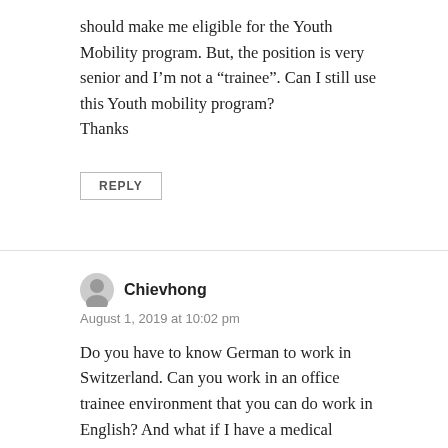should make me eligible for the Youth Mobility program. But, the position is very senior and I’m not a “trainee”. Can I still use this Youth mobility program?
Thanks
REPLY
Chievhong
August 1, 2019 at 10:02 pm
Do you have to know German to work in Switzerland. Can you work in an office trainee environment that you can do work in English? And what if I have a medical condition and can’t work to the full capacity like a normal person. Is there a job for people with disability?